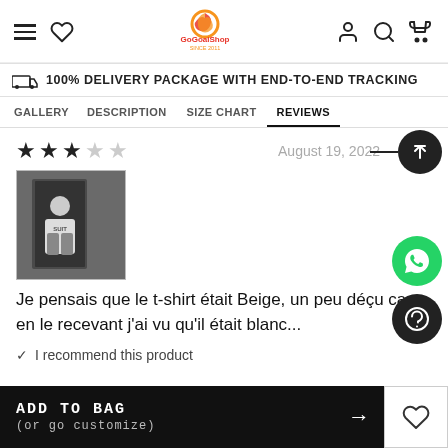GoGoalShop navigation header with hamburger menu, wishlist, logo, user, search, and cart icons
🚚 100% DELIVERY PACKAGE WITH END-TO-END TRACKING
GALLERY   DESCRIPTION   SIZE CHART   REVIEWS
★★★☆☆   August 19, 2022
[Figure (photo): Review photo showing a person wearing a white t-shirt]
Je pensais que le t-shirt était Beige, un peu déçu car en le recevant j'ai vu qu'il était blanc...
✓  I recommend this product
ADD TO BAG (or go customize) →